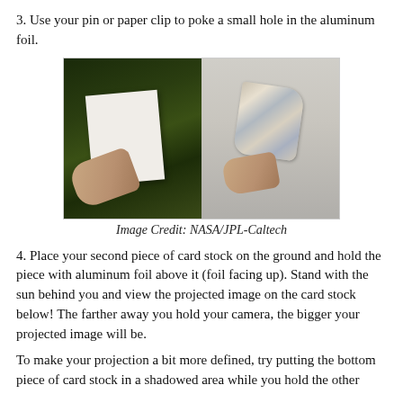3. Use your pin or paper clip to poke a small hole in the aluminum foil.
[Figure (photo): Two side-by-side photos: left shows hands holding a white sheet of paper with a hole on green grass; right shows hands holding crumpled aluminum foil against a light background.]
Image Credit: NASA/JPL-Caltech
4. Place your second piece of card stock on the ground and hold the piece with aluminum foil above it (foil facing up). Stand with the sun behind you and view the projected image on the card stock below! The farther away you hold your camera, the bigger your projected image will be.
To make your projection a bit more defined, try putting the bottom piece of card stock in a shadowed area while you hold the other piece in the sunlight.